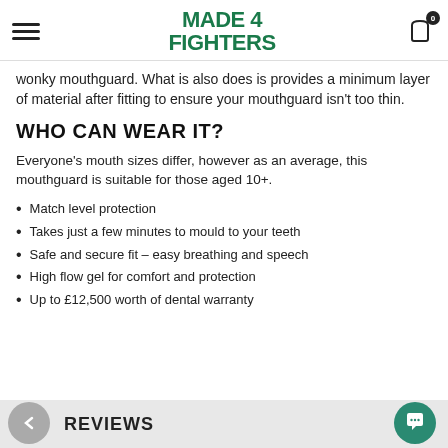MADE 4 FIGHTERS
wonky mouthguard. What is also does is provides a minimum layer of material after fitting to ensure your mouthguard isn't too thin.
WHO CAN WEAR IT?
Everyone's mouth sizes differ, however as an average, this mouthguard is suitable for those aged 10+.
Match level protection
Takes just a few minutes to mould to your teeth
Safe and secure fit – easy breathing and speech
High flow gel for comfort and protection
Up to £12,500 worth of dental warranty
REVIEWS